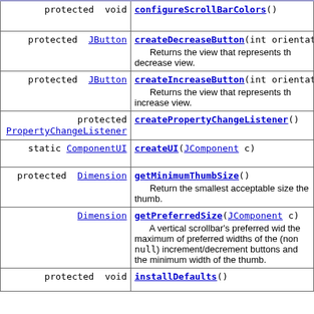| Modifier | Method and Description |
| --- | --- |
| protected void | configureScrollBarColors() |
| protected JButton | createDecreaseButton(int orientati...
Returns the view that represents the decrease view. |
| protected JButton | createIncreaseButton(int orientati...
Returns the view that represents the increase view. |
| protected PropertyChangeListener | createPropertyChangeListener() |
| static ComponentUI | createUI(JComponent c) |
| protected Dimension | getMinimumThumbSize()
Return the smallest acceptable size the thumb. |
| Dimension | getPreferredSize(JComponent c)
A vertical scrollbar's preferred width the maximum of preferred widths of the (non null) increment/decrement buttons and the minimum width of the thumb. |
| protected void | installDefaults() |